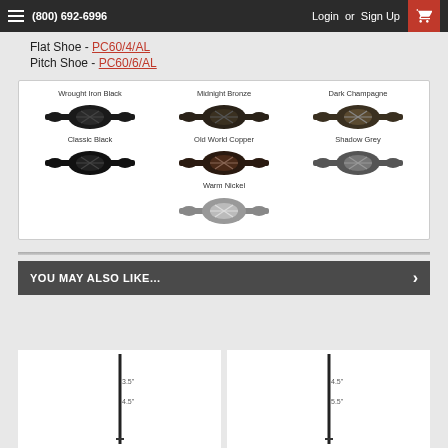(800) 692-6996  Login or Sign Up
Flat Shoe - PC60/4/AL
Pitch Shoe - PC60/6/AL
[Figure (photo): Color swatches panel showing 7 decorative baluster connector finishes: Wrought Iron Black, Midnight Bronze, Dark Champagne, Classic Black, Old World Copper, Shadow Grey, Warm Nickel]
YOU MAY ALSO LIKE...
[Figure (photo): Product thumbnail showing a railing baluster - left item]
[Figure (photo): Product thumbnail showing a railing baluster - right item]